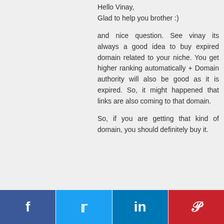Hello Vinay,
Glad to help you brother :)
and nice question. See vinay its always a good idea to buy expired domain related to your niche. You get higher ranking automatically + Domain authority will also be good as it is expired. So, it might happened that links are also coming to that domain.
So, if you are getting that kind of domain, you should definitely buy it.
f  Twitter  in  Pinterest social share buttons